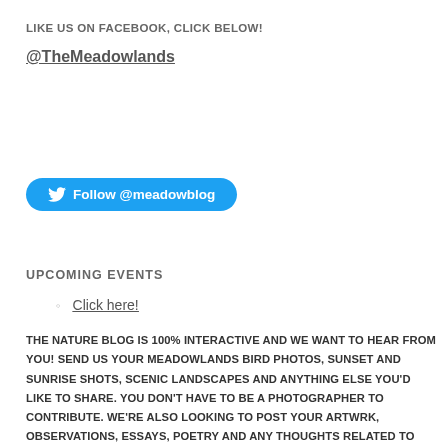LIKE US ON FACEBOOK, CLICK BELOW!
@TheMeadowlands
[Figure (other): Twitter Follow button with bird icon: Follow @meadowblog]
UPCOMING EVENTS
Click here!
THE NATURE BLOG IS 100% INTERACTIVE AND WE WANT TO HEAR FROM YOU! SEND US YOUR MEADOWLANDS BIRD PHOTOS, SUNSET AND SUNRISE SHOTS, SCENIC LANDSCAPES AND ANYTHING ELSE YOU'D LIKE TO SHARE. YOU DON'T HAVE TO BE A PHOTOGRAPHER TO CONTRIBUTE. WE'RE ALSO LOOKING TO POST YOUR ARTWRK, OBSERVATIONS, ESSAYS, POETRY AND ANY THOUGHTS RELATED TO